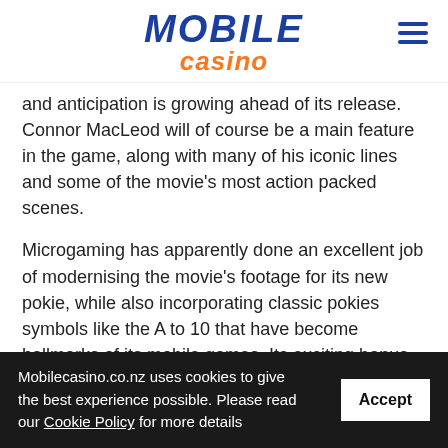MOBILE casino
and anticipation is growing ahead of its release. Connor MacLeod will of course be a main feature in the game, along with many of his iconic lines and some of the movie's most action packed scenes.
Microgaming has apparently done an excellent job of modernising the movie's footage for its new pokie, while also incorporating classic pokies symbols like the A to 10 that have become hallmarks of its mobile games. Its exciting bonus features will also ensure that players of all ages, including Millennials, will be able to
Mobilecasino.co.nz uses cookies to give the best experience possible. Please read our Cookie Policy for more details